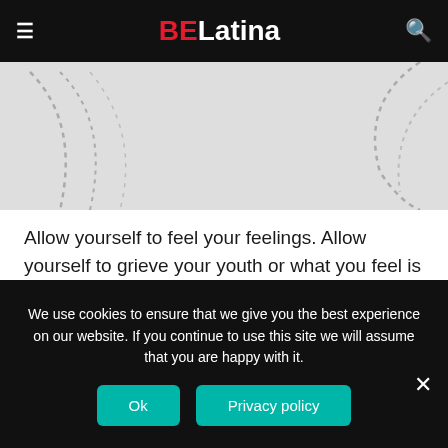BELatina
[Figure (photo): Close-up of a white surface with dashed curved stitch lines visible]
Allow yourself to feel your feelings. Allow yourself to grieve your youth or what you feel is lacking or fading away in your life as you age. Allow yourself to have those negative thoughts. And then try to balance those thoughts and emotions with gratitude. Think about what is good in your life. Think about what fills you up and makes you happy. Not what makes your family happy or your boss or your friends,
We use cookies to ensure that we give you the best experience on our website. If you continue to use this site we will assume that you are happy with it.